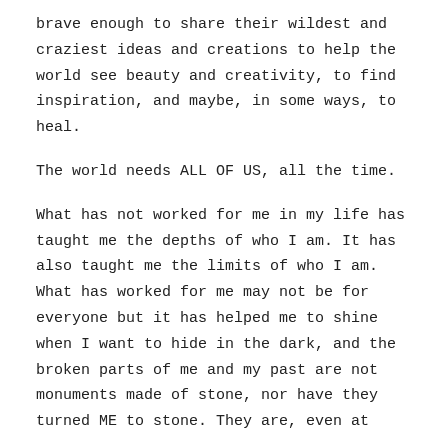brave enough to share their wildest and craziest ideas and creations to help the world see beauty and creativity, to find inspiration, and maybe, in some ways, to heal.
The world needs ALL OF US, all the time.
What has not worked for me in my life has taught me the depths of who I am. It has also taught me the limits of who I am. What has worked for me may not be for everyone but it has helped me to shine when I want to hide in the dark, and the broken parts of me and my past are not monuments made of stone, nor have they turned ME to stone. They are, even at